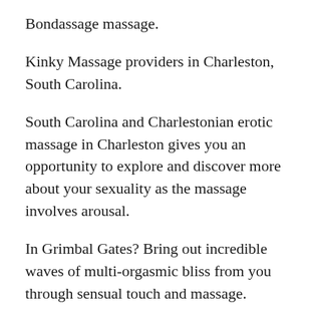Bondassage massage.
Kinky Massage providers in Charleston, South Carolina.
South Carolina and Charlestonian erotic massage in Charleston gives you an opportunity to explore and discover more about your sexuality as the massage involves arousal.
In Grimbal Gates? Bring out incredible waves of multi-orgasmic bliss from you through sensual touch and massage.